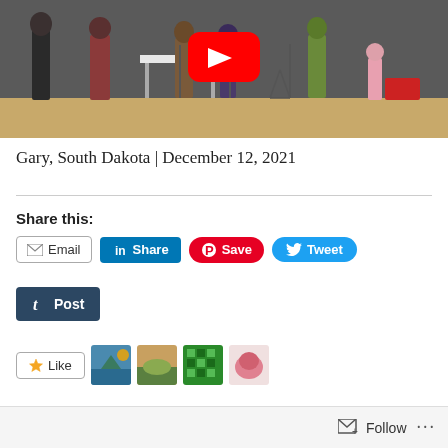[Figure (photo): YouTube video thumbnail showing people performing on a stage with microphone stands and a table. A YouTube play button overlay is visible in the center. A young girl in a floral dress stands on the right.]
Gary, South Dakota | December 12, 2021
Share this:
[Figure (screenshot): Social sharing buttons: Email, LinkedIn Share, Pinterest Save, Twitter Tweet]
[Figure (screenshot): Tumblr Post button]
[Figure (screenshot): Like button with star icon and user avatar thumbnails]
Follow ...